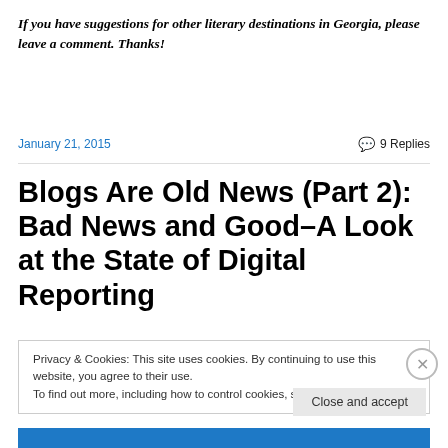If you have suggestions for other literary destinations in Georgia, please leave a comment. Thanks!
January 21, 2015
9 Replies
Blogs Are Old News (Part 2): Bad News and Good–A Look at the State of Digital Reporting
Privacy & Cookies: This site uses cookies. By continuing to use this website, you agree to their use. To find out more, including how to control cookies, see here: Cookie Policy
Close and accept